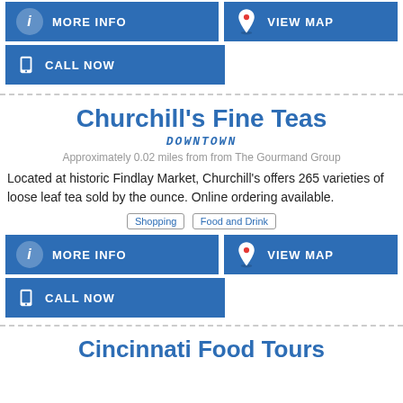MORE INFO
VIEW MAP
CALL NOW
Churchill's Fine Teas
DOWNTOWN
Approximately 0.02 miles from from The Gourmand Group
Located at historic Findlay Market, Churchill's offers 265 varieties of loose leaf tea sold by the ounce. Online ordering available.
Shopping  Food and Drink
MORE INFO
VIEW MAP
CALL NOW
Cincinnati Food Tours